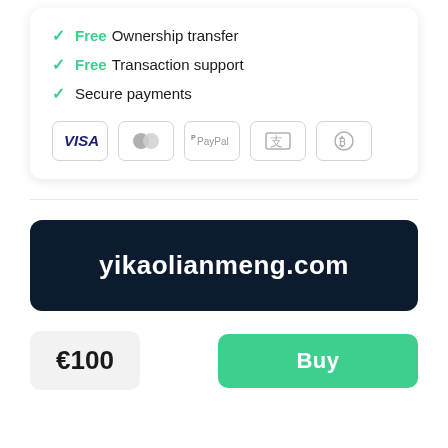✓ Free Ownership transfer
✓ Free Transaction support
✓ Secure payments
[Figure (infographic): Payment method icons: VISA, Mastercard, PayPal, Alipay, Bitcoin]
yikaolianmeng.com
€100
Buy